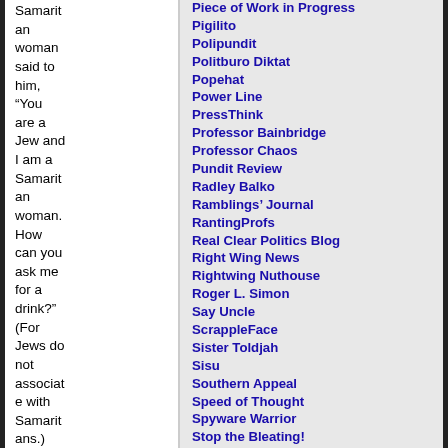Samaritan woman said to him, “You are a Jew and I am a Samaritan woman. How can you ask me for a drink?” (For Jews do not associate with Samaritans.) Jesus
Piece of Work in Progress
Pigilito
Polipundit
Politburo Diktat
Popehat
Power Line
PressThink
Professor Bainbridge
Professor Chaos
Pundit Review
Radley Balko
Ramblings’ Journal
RantingProfs
Real Clear Politics Blog
Right Wing News
Rightwing Nuthouse
Roger L. Simon
Say Uncle
ScrappleFace
Sister Toldjah
Sisu
Southern Appeal
Speed of Thought
Spyware Warrior
Stop the Bleating!
Strong As An Ox and Nearly As Smart
Stubborn Facts
Such Little Things
The Astute Blogger
The Big Picture
The Buck Stops Here
The Dialectizer